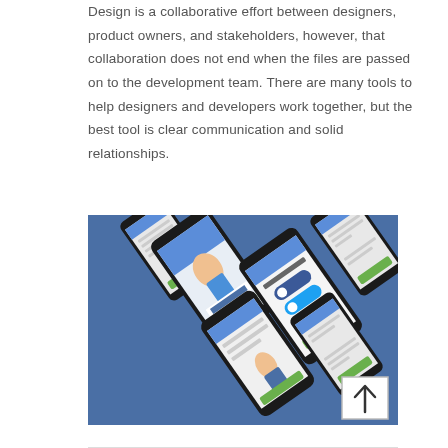Design is a collaborative effort between designers, product owners, and stakeholders, however, that collaboration does not end when the files are passed on to the development team. There are many tools to help designers and developers work together, but the best tool is clear communication and solid relationships.
[Figure (photo): Multiple smartphones arranged diagonally on a blue background, showing a mobile fitness app called 'FITTED!' with various screens including a sign-up screen with social login buttons and profile screens. A back-to-top arrow button is visible in the bottom-right corner of the image.]